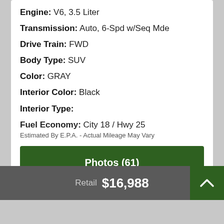Engine: V6, 3.5 Liter
Transmission: Auto, 6-Spd w/Seq Mde
Drive Train: FWD
Body Type: SUV
Color: GRAY
Interior Color: Black
Interior Type:
Fuel Economy: City 18 / Hwy 25
Estimated By E.P.A. - Actual Mileage May Vary
Photos (61)
Retail $16,988